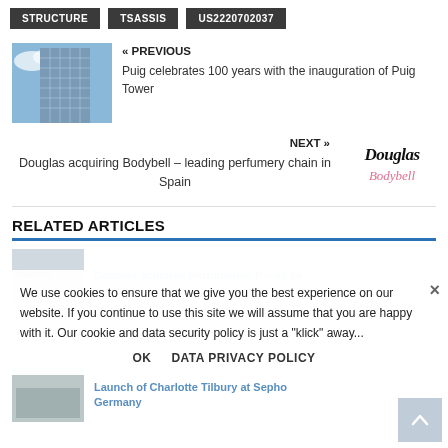STRUCTURE   TSASSIS   US2220702037
[Figure (photo): Thumbnail of a glass skyscraper building against blue sky]
« PREVIOUS
Puig celebrates 100 years with the inauguration of Puig Tower
NEXT »
Douglas acquiring Bodybell – leading perfumery chain in Spain
[Figure (logo): Douglas Bodybell logo — 'Douglas' in bold italic script above 'Bodybell' in cursive pink text]
RELATED ARTICLES
Douglas acquires Perfumerias If – up to
We use cookies to ensure that we give you the best experience on our website. If you continue to use this site we will assume that you are happy with it. Our cookie and data security policy is just a "klick" away...
Ok   DATA PRIVACY POLICY
Launch of Charlotte Tilbury at Sephora Germany